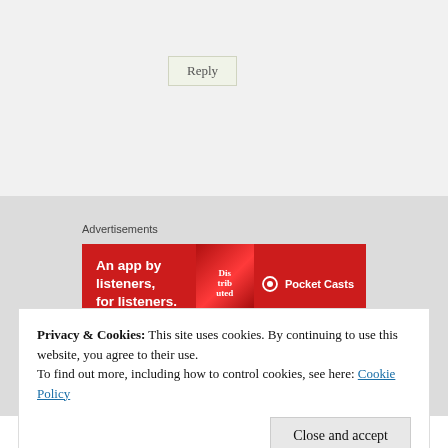Reply
[Figure (illustration): Pocket Casts advertisement banner: red background with white text 'An app by listeners, for listeners.' and Pocket Casts logo with a stylized book graphic.]
Advertisements
Privacy & Cookies: This site uses cookies. By continuing to use this website, you agree to their use.
To find out more, including how to control cookies, see here: Cookie Policy
Close and accept
found these sorts of exercises really helpful. "The 3am